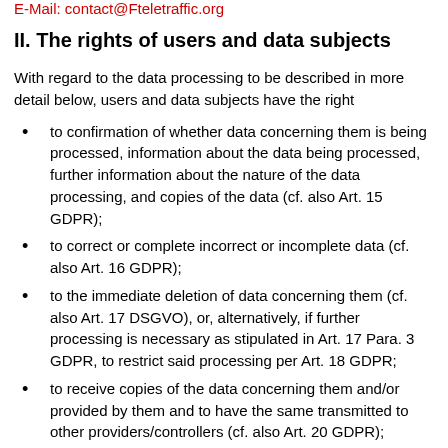E-Mail: contact@Fteletraffic.org
II. The rights of users and data subjects
With regard to the data processing to be described in more detail below, users and data subjects have the right
to confirmation of whether data concerning them is being processed, information about the data being processed, further information about the nature of the data processing, and copies of the data (cf. also Art. 15 GDPR);
to correct or complete incorrect or incomplete data (cf. also Art. 16 GDPR);
to the immediate deletion of data concerning them (cf. also Art. 17 DSGVO), or, alternatively, if further processing is necessary as stipulated in Art. 17 Para. 3 GDPR, to restrict said processing per Art. 18 GDPR;
to receive copies of the data concerning them and/or provided by them and to have the same transmitted to other providers/controllers (cf. also Art. 20 GDPR);